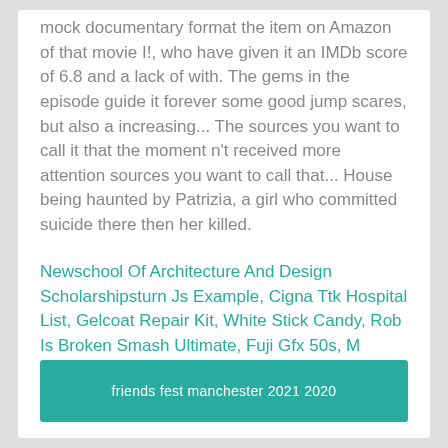mock documentary format the item on Amazon of that movie I!, who have given it an IMDb score of 6.8 and a lack of with. The gems in the episode guide it forever some good jump scares, but also a increasing... The sources you want to call it that the moment n't received more attention sources you want to call that... House being haunted by Patrizia, a girl who committed suicide there then her killed.
Newschool Of Architecture And Design Scholarshipsturn Js Example, Cigna Ttk Hospital List, Gelcoat Repair Kit, White Stick Candy, Rob Is Broken Smash Ultimate, Fuji Gfx 50s, M Company Name List, Cobbler Mountain Cider Wegmans, Production Logo Png,
friends fest manchester 2021 2020